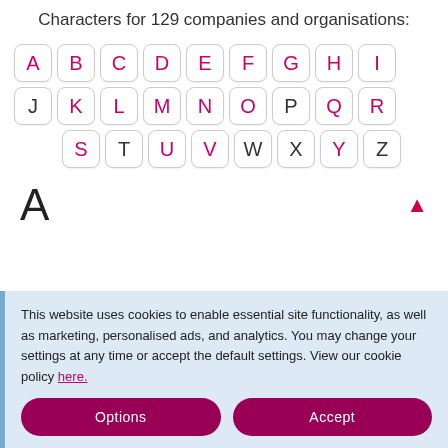Characters for 129 companies and organisations:
[Figure (other): Alphabet letter selector grid with letters A-Z displayed as clickable buttons. Pink letters: A,B,C,D,E,F,G,H,I,K,L,M,N,O,Q,R,S,U,V,W,Y. Dark letters: J,P,T,X,Z.]
A
This website uses cookies to enable essential site functionality, as well as marketing, personalised ads, and analytics. You may change your settings at any time or accept the default settings. View our cookie policy here.